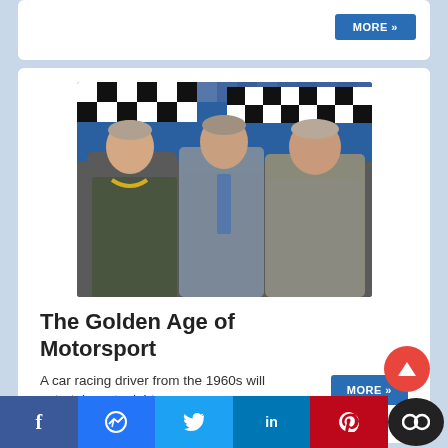MORE »
[Figure (photo): Three older men standing together in front of a black and white checkered flag background with blue sky. The man on the left wears a dark suit with a yellow chain/medal. The man in the middle wears a grey suit with a blue tie. The man on the right wears a checkered shirt.]
The Golden Age of Motorsport
A car racing driver from the 1960s will entertain us tonight
MORE »
f  [Messenger]  [Twitter]  in  p  [Connotate]